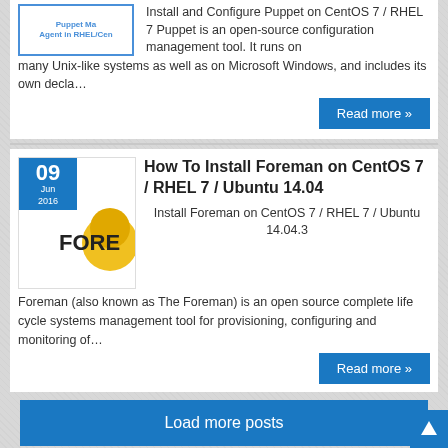[Figure (screenshot): Thumbnail image showing 'Puppet Master / Agent in RHEL/Cen' text with blue border]
Install and Configure Puppet on CentOS 7 / RHEL 7 Puppet is an open-source configuration management tool. It runs on many Unix-like systems as well as on Microsoft Windows, and includes its own decla…
Read more »
[Figure (screenshot): Foreman logo thumbnail with date badge showing 09 Jun 2016]
How To Install Foreman on CentOS 7 / RHEL 7 / Ubuntu 14.04
Install Foreman on CentOS 7 / RHEL 7 / Ubuntu 14.04.3 Foreman (also known as The Foreman) is an open source complete life cycle systems management tool for provisioning, configuring and monitoring of…
Read more »
Load more posts
CHEAP DEDICATED SERVER
[Figure (screenshot): VPS SERVER banner with cyan and black background, red and white text]